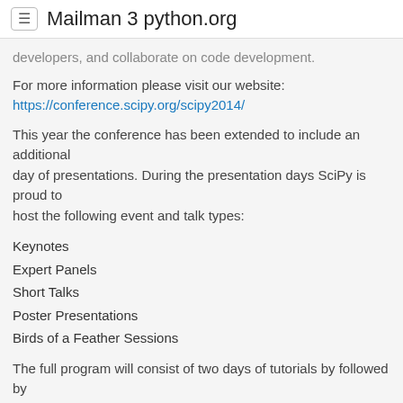≡ Mailman 3 python.org
developers, and collaborate on code development.
For more information please visit our website:
https://conference.scipy.org/scipy2014/
This year the conference has been extended to include an additional
day of presentations. During the presentation days SciPy is proud to
host the following event and talk types:
Keynotes
Expert Panels
Short Talks
Poster Presentations
Birds of a Feather Sessions
The full program will consist of two days of tutorials by followed by
three days of presentations, and concludes with two days of
developer